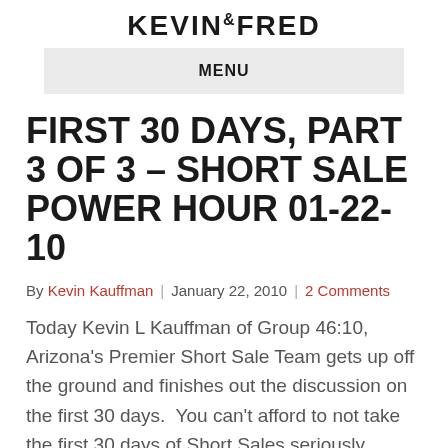KEVIN&FRED
MENU
FIRST 30 DAYS, PART 3 OF 3 – SHORT SALE POWER HOUR 01-22-10
By Kevin Kauffman | January 22, 2010 | 2 Comments
Today Kevin L Kauffman of Group 46:10, Arizona's Premier Short Sale Team gets up off the ground and finishes out the discussion on the first 30 days.  You can't afford to not take the first 30 days of Short Sales seriously